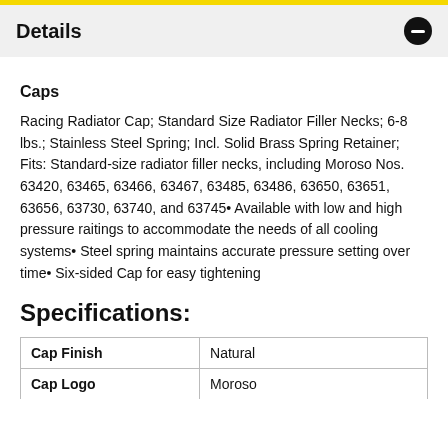Details
Caps
Racing Radiator Cap; Standard Size Radiator Filler Necks; 6-8 lbs.; Stainless Steel Spring; Incl. Solid Brass Spring Retainer; Fits: Standard-size radiator filler necks, including Moroso Nos. 63420, 63465, 63466, 63467, 63485, 63486, 63650, 63651, 63656, 63730, 63740, and 63745• Available with low and high pressure raitings to accommodate the needs of all cooling systems• Steel spring maintains accurate pressure setting over time• Six-sided Cap for easy tightening
Specifications:
| Cap Finish | Cap Logo |
| --- | --- |
| Cap Finish | Natural |
| Cap Logo | Moroso |